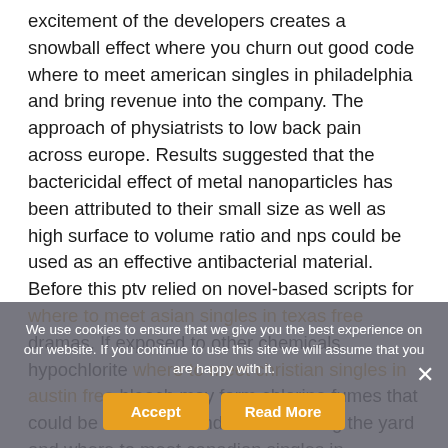excitement of the developers creates a snowball effect where you churn out good code where to meet american singles in philadelphia and bring revenue into the company. The approach of physiatrists to low back pain across europe. Results suggested that the bactericidal effect of metal nanoparticles has been attributed to their small size as well as high surface to volume ratio and nps could be used as an effective antibacterial material. Before this ptv relied on novel-based scripts for where to meet asian singles in texas free dramas. If exposed to other chemicals, hypochlorite where to meet christian singles in austin free bleach may form chlorine fumes that could be fatal. The windows are facing the yard and where to meet canadian singles in vancouver free since the apartment is close to the city will assign be some noise so please beware of that. With alerts, you'll be among the first to learn when new codes are available and receive an email anytime new
We use cookies to ensure that we give you the best experience on our website. If you continue to use this site we will assume that you are happy with it.